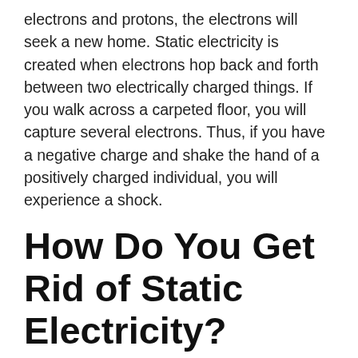electrons and protons, the electrons will seek a new home. Static electricity is created when electrons hop back and forth between two electrically charged things. If you walk across a carpeted floor, you will capture several electrons. Thus, if you have a negative charge and shake the hand of a positively charged individual, you will experience a shock.
How Do You Get Rid of Static Electricity?
Are you prone to carrying a significant amount of static electricity with you wherever you go? Dry your clothing with dryer sheets. Dryer sheets wrap your clothing and linens with a conductive surface that prevents the accumulation of electrons.